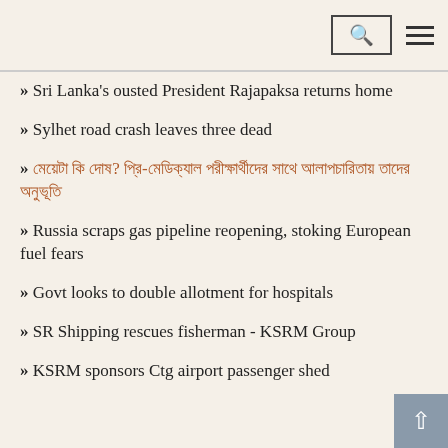Search and menu navigation bar
» Sri Lanka's ousted President Rajapaksa returns home
» Sylhet road crash leaves three dead
» [Bengali text] মেয়েটি কি দোষ? প্রি-মেডিক্যাল পরীক্ষার্থীদের সাথে আলাপ
» Russia scraps gas pipeline reopening, stoking European fuel fears
» Govt looks to double allotment for hospitals
» SR Shipping rescues fisherman - KSRM Group
» KSRM sponsors Ctg airport passenger shed